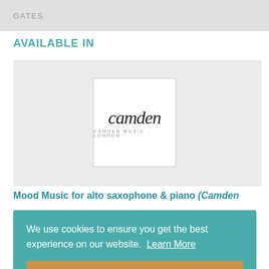GATES
AVAILABLE IN
[Figure (logo): Camden Music London publisher logo — stylized italic 'camden' wordmark with 'CAMDEN MUSIC · LONDON' subtitle in small caps]
Mood Music for alto saxophone & piano (Camden
We use cookies to ensure you get the best experience on our website.  Learn More
Accept